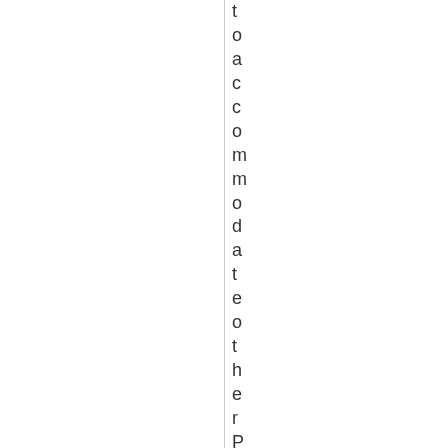toaccommodateotherPICsinthesam